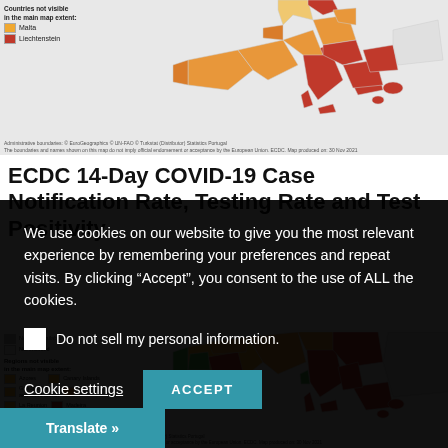[Figure (map): Top portion of ECDC map showing COVID-19 data for European countries, with orange/red color coding. Legend shows Countries not visible in the main map extent: Malta, Liechtenstein.]
Administrative boundaries: © EuroGeographics © UN-FAO © Turkstat (Distributor) Statistics Portugal
The boundaries and names shown on this map do not imply official endorsement or acceptance by the European Union. ECDC. Map produced on: 30 Nov 2021
ECDC 14-Day COVID-19 Case Notification Rate, Testing Rate and Test Positivity
We use cookies on our website to give you the most relevant experience by remembering your preferences and repeat visits. By clicking “Accept”, you consent to the use of ALL the cookies.
Do not sell my personal information.
Cookie settings
ACCEPT
[Figure (map): Bottom portion of ECDC map showing COVID-19 regional data for European countries including France, Spain, Italy, with color coding from green (low) to dark red (high). Legend includes: No data available, Not included, Regions not visible in the main map extent: Azores, Canary Islands, Guadeloupe and Saint Martin, Guyane, La Reunion, Madeira, Martinique, Mayotte. Countries not visible in the main map extent shown below.]
Translate »